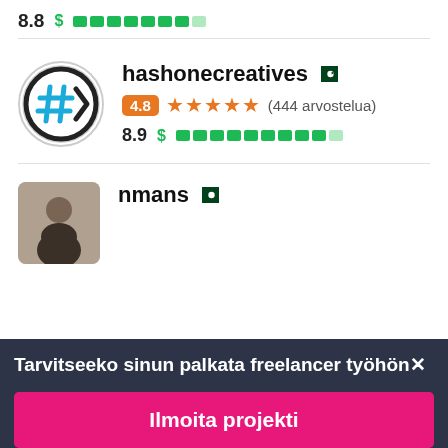8.8 $ ▮▮▮▮▮▮▮▮
[Figure (screenshot): hashonecreatives profile card with logo, Pakistan flag, 4.8 star rating (444 reviews), score 8.9]
hashonecreatives
4.8 ★★★★★ (444 arvostelua)
8.9 $ ▮▮▮▮▮▮▮▮▮
[Figure (screenshot): nmans profile card with photo and Pakistan flag]
nmans
Tarvitseeko sinun palkata freelancer työhön✕
Ilmoita projekti